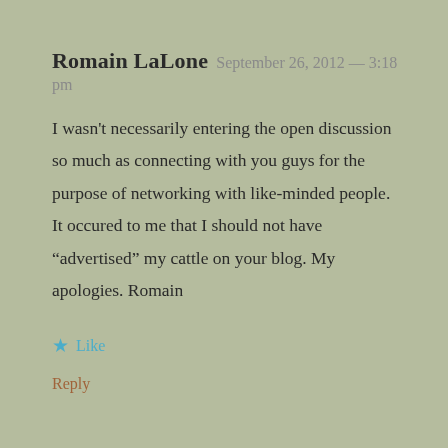Romain LaLone  September 26, 2012 — 3:18 pm
I wasn't necessarily entering the open discussion so much as connecting with you guys for the purpose of networking with like-minded people. It occured to me that I should not have “advertised” my cattle on your blog. My apologies. Romain
★ Like
Reply